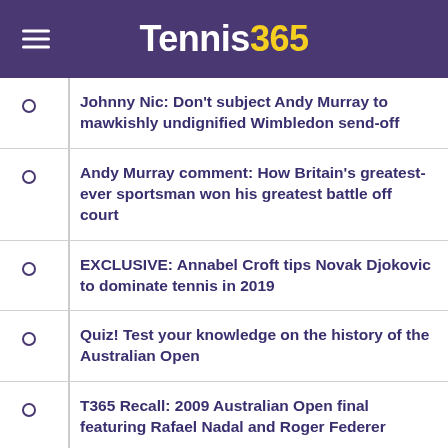Tennis365
Johnny Nic: Don't subject Andy Murray to mawkishly undignified Wimbledon send-off
Andy Murray comment: How Britain's greatest-ever sportsman won his greatest battle off court
EXCLUSIVE: Annabel Croft tips Novak Djokovic to dominate tennis in 2019
Quiz! Test your knowledge on the history of the Australian Open
T365 Recall: 2009 Australian Open final featuring Rafael Nadal and Roger Federer